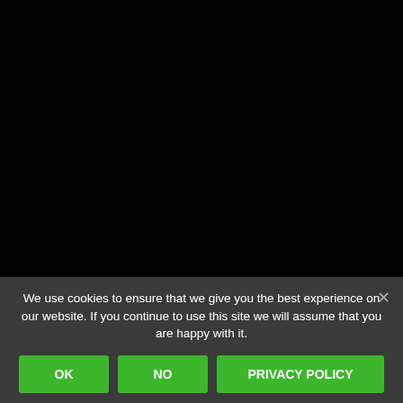[Figure (other): Black background area filling the upper portion of the page]
We use cookies to ensure that we give you the best experience on our website. If you continue to use this site we will assume that you are happy with it.
×
OK
NO
PRIVACY POLICY